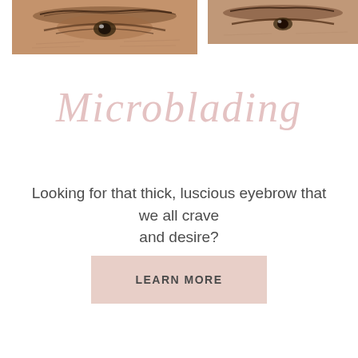[Figure (photo): Two close-up photos of a person's eye area/eyebrows showing skin texture and brow hair, positioned at the top of the page]
Microblading
Looking for that thick, luscious eyebrow that we all crave and desire?
LEARN MORE